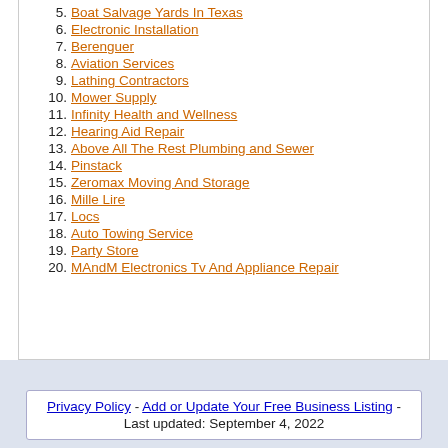5. Boat Salvage Yards In Texas
6. Electronic Installation
7. Berenguer
8. Aviation Services
9. Lathing Contractors
10. Mower Supply
11. Infinity Health and Wellness
12. Hearing Aid Repair
13. Above All The Rest Plumbing and Sewer
14. Pinstack
15. Zeromax Moving And Storage
16. Mille Lire
17. Locs
18. Auto Towing Service
19. Party Store
20. MAndM Electronics Tv And Appliance Repair
Privacy Policy - Add or Update Your Free Business Listing - Last updated: September 4, 2022